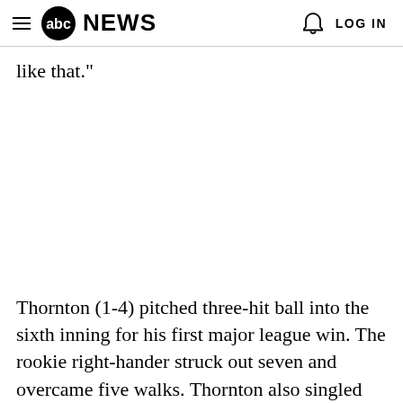abc NEWS  LOG IN
like that."
Thornton (1-4) pitched three-hit ball into the sixth inning for his first major league win. The rookie right-hander struck out seven and overcame five walks. Thornton also singled